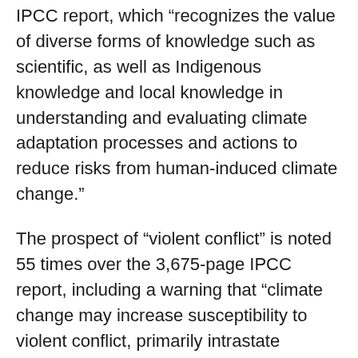IPCC report, which “recognizes the value of diverse forms of knowledge such as scientific, as well as Indigenous knowledge and local knowledge in understanding and evaluating climate adaptation processes and actions to reduce risks from human-induced climate change.”
The prospect of “violent conflict” is noted 55 times over the 3,675-page IPCC report, including a warning that “climate change may increase susceptibility to violent conflict, primarily intrastate conflicts, by strengthening climate-sensitive drivers of conflict.” Mostly, the IPCC sees violent conflict as something that could occur in regions where climate change may provoke local populations to react to floods, fires, and extreme weather.
Nobody saw Putin coming, riding on the back of Germany and other European nations as they attempted to remake